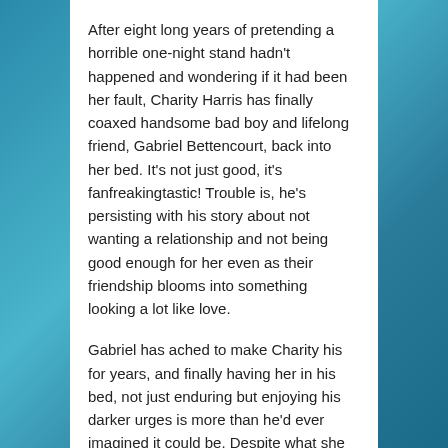After eight long years of pretending a horrible one-night stand hadn't happened and wondering if it had been her fault, Charity Harris has finally coaxed handsome bad boy and lifelong friend, Gabriel Bettencourt, back into her bed. It's not just good, it's fanfreakingtastic! Trouble is, he's persisting with his story about not wanting a relationship and not being good enough for her even as their friendship blooms into something looking a lot like love.
Gabriel has ached to make Charity his for years, and finally having her in his bed, not just enduring but enjoying his darker urges is more than he'd ever imagined it could be. Despite what she says, he knows she deserves candlelight and roses, not candle wax and ropes. He'll enjoy her while he can and let go when she finds the right man.
Charity knows Gabriel's game and she's not having any of it. A man can like it rough in bed and still be good and kind. He's exactly the kind of man she wants to marry and